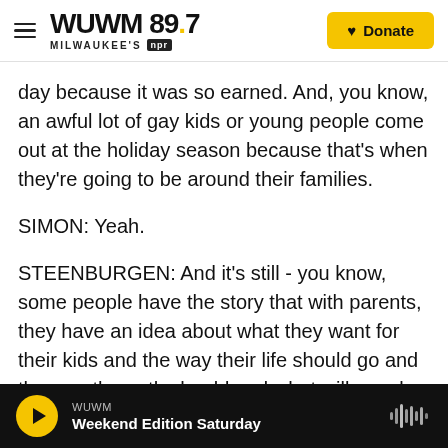WUWM 89.7 Milwaukee's NPR | Donate
day because it was so earned. And, you know, an awful lot of gay kids or young people come out at the holiday season because that's when they're going to be around their families.
SIMON: Yeah.
STEENBURGEN: And it's still - you know, some people have the story that with parents, they have an idea about what they want for their kids and the way their life should go and the way the path should and what will people think. And so I just found it really moving to be a part of it. And I
WUWM | Weekend Edition Saturday